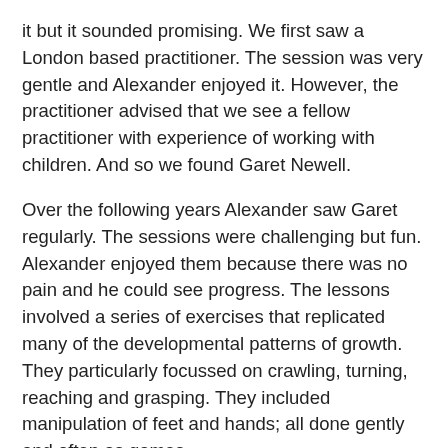it but it sounded promising. We first saw a London based practitioner. The session was very gentle and Alexander enjoyed it. However, the practitioner advised that we see a fellow practitioner with experience of working with children. And so we found Garet Newell.
Over the following years Alexander saw Garet regularly. The sessions were challenging but fun. Alexander enjoyed them because there was no pain and he could see progress. The lessons involved a series of exercises that replicated many of the developmental patterns of growth. They particularly focussed on crawling, turning, reaching and grasping. They included manipulation of feet and hands; all done gently and often as games.
And the benefits began almost immediately. Alexander began to develop many inherent and reflexive skills that had lain dormant. His balance improved, the range of movement expanded and he began to grow much faster.